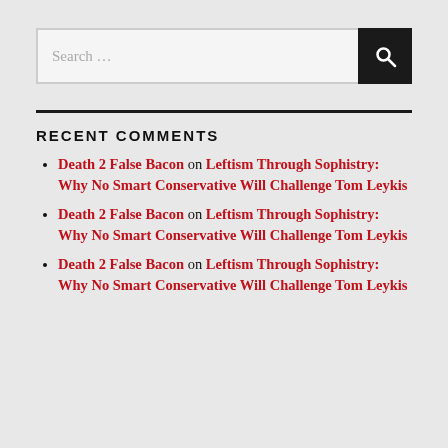[Figure (screenshot): Search input box with text 'Search ...' and a dark search button with magnifying glass icon]
RECENT COMMENTS
Death 2 False Bacon on Leftism Through Sophistry: Why No Smart Conservative Will Challenge Tom Leykis
Death 2 False Bacon on Leftism Through Sophistry: Why No Smart Conservative Will Challenge Tom Leykis
Death 2 False Bacon on Leftism Through Sophistry: Why No Smart Conservative Will Challenge Tom Leykis